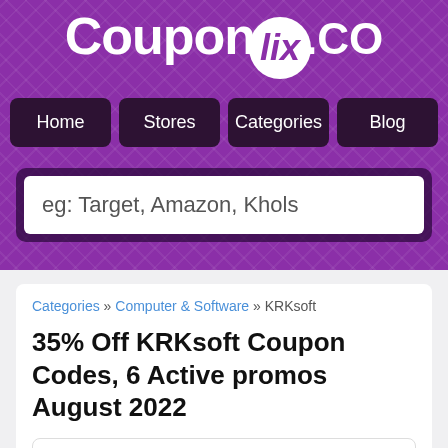[Figure (logo): CouponClix.co logo in white text on purple background]
Home
Stores
Categories
Blog
eg: Target, Amazon, Khols
Categories » Computer & Software » KRKsoft
35% Off KRKsoft Coupon Codes, 6 Active promos August 2022